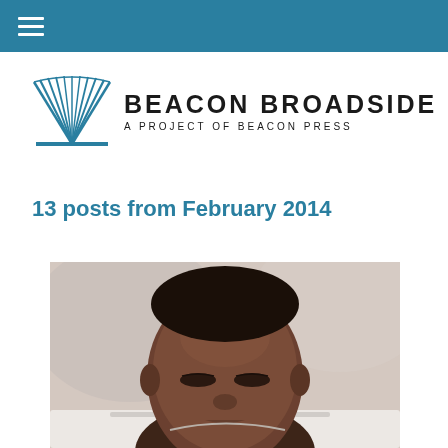≡
[Figure (logo): Beacon Broadside logo with open book/pages graphic in teal blue, text: BEACON BROADSIDE A PROJECT OF BEACON PRESS]
13 posts from February 2014
[Figure (photo): Close-up photo of a Black man with eyes closed, head tilted slightly down, near a white surface or paper, blurred background]